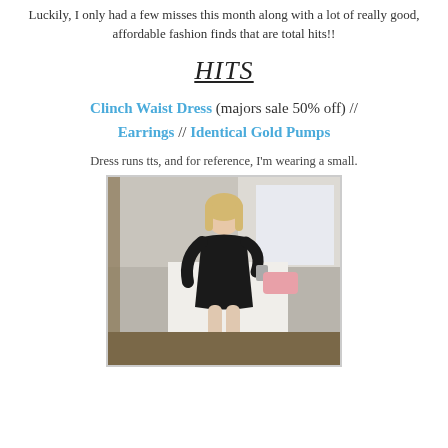Luckily, I only had a few misses this month along with a lot of really good, affordable fashion finds that are total hits!!
HITS
Clinch Waist Dress (majors sale 50% off) // Earrings // Identical Gold Pumps
Dress runs tts, and for reference, I'm wearing a small.
[Figure (photo): Woman in black clinch waist dress taking a mirror selfie in a bedroom]